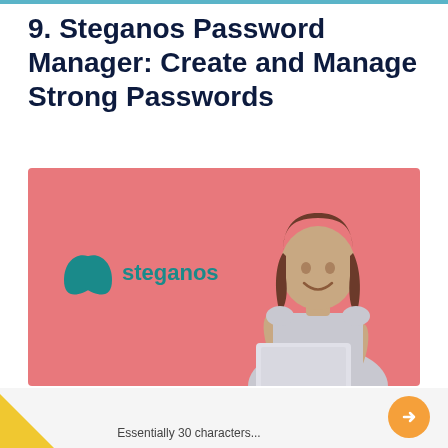9. Steganos Password Manager: Create and Manage Strong Passwords
[Figure (photo): Promotional image with salmon/pink background showing the Steganos logo on the left and a smiling woman holding a laptop on the right]
Essentially 30 characters...